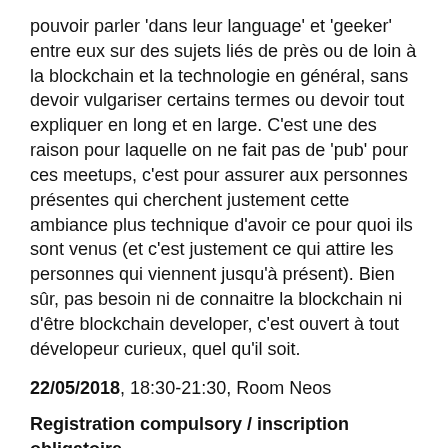pouvoir parler 'dans leur language' et 'geeker' entre eux sur des sujets liés de près ou de loin à la blockchain et la technologie en général, sans devoir vulgariser certains termes ou devoir tout expliquer en long et en large. C'est une des raison pour laquelle on ne fait pas de 'pub' pour ces meetups, c'est pour assurer aux personnes présentes qui cherchent justement cette ambiance plus technique d'avoir ce pour quoi ils sont venus (et c'est justement ce qui attire les personnes qui viennent jusqu'à présent). Bien sûr, pas besoin ni de connaitre la blockchain ni d'être blockchain developer, c'est ouvert à tout dévelopeur curieux, quel qu'il soit.
22/05/2018, 18:30-21:30, Room Neos
Registration compulsory / inscription obligatoire
From to fill in:  https://goo.gl/forms/l2BDZbOihbctzpq72
or join http://slack.hive.brussels
More Info:
Facebook: HIVE Blockchain Society